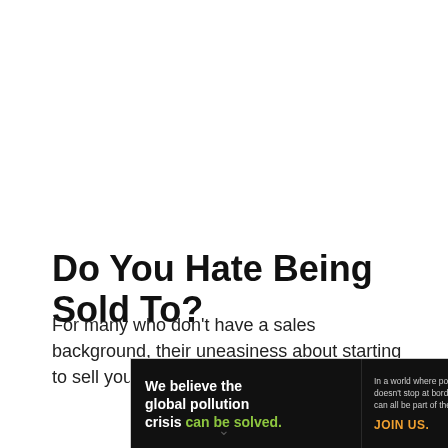Do You Hate Being Sold To?
For many who don't have a sales background, their uneasiness about starting to sell yourself to potential
[Figure (infographic): Pure Earth advertisement banner. Black background on left with text: 'We believe the global pollution crisis can be solved.' (can be solved in green). Right side in black shows small white text: 'In a world where pollution doesn't stop at borders, we can all be part of the solution.' and 'JOIN US.' in orange/gold. Logo panel on far right shows Pure Earth logo (diamond/arrow shape in gold) with 'PURE EARTH' in bold black text on white background.]